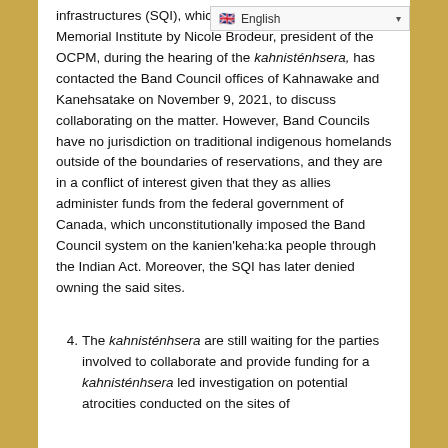infrastructures (SQI), which [partially visible] the owner of the Allan Memorial Institute by Nicole Brodeur, president of the OCPM, during the hearing of the kahnisténhsera, has contacted the Band Council offices of Kahnawake and Kanehsatake on November 9, 2021, to discuss collaborating on the matter. However, Band Councils have no jurisdiction on traditional indigenous homelands outside of the boundaries of reservations, and they are in a conflict of interest given that they as allies administer funds from the federal government of Canada, which unconstitutionally imposed the Band Council system on the kanien'keha:ka people through the Indian Act. Moreover, the SQI has later denied owning the said sites.
4. The kahnisténhsera are still waiting for the parties involved to collaborate and provide funding for a kahnisténhsera led investigation on potential atrocities conducted on the sites of